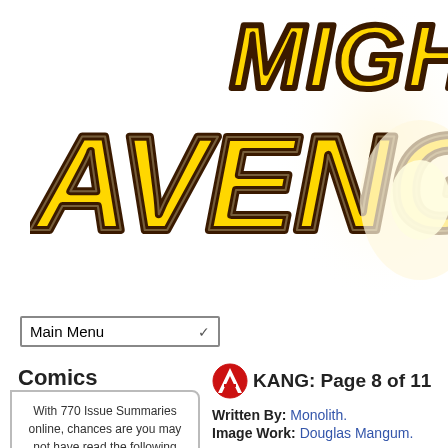[Figure (logo): Mighty Avengers comic book logo with large yellow/gold letters and dark brown outline on white background]
Main Menu
Comics
With 770 Issue Summaries online, chances are you may not have read the following Issue Summary:
[Figure (illustration): Quicksilver comic book cover thumbnail]
KANG: Page 8 of 11
Written By: Monolith.
Image Work: Douglas Mangum.
Vital Statistics  Bio